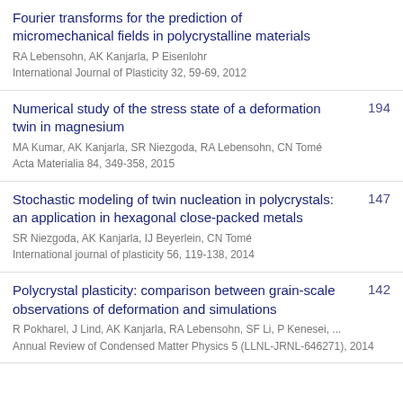Fourier transforms for the prediction of micromechanical fields in polycrystalline materials
RA Lebensohn, AK Kanjarla, P Eisenlohr
International Journal of Plasticity 32, 59-69, 2012
Numerical study of the stress state of a deformation twin in magnesium
MA Kumar, AK Kanjarla, SR Niezgoda, RA Lebensohn, CN Tomé
Acta Materialia 84, 349-358, 2015
194
Stochastic modeling of twin nucleation in polycrystals: an application in hexagonal close-packed metals
SR Niezgoda, AK Kanjarla, IJ Beyerlein, CN Tomé
International journal of plasticity 56, 119-138, 2014
147
Polycrystal plasticity: comparison between grain-scale observations of deformation and simulations
R Pokharel, J Lind, AK Kanjarla, RA Lebensohn, SF Li, P Kenesei, ...
Annual Review of Condensed Matter Physics 5 (LLNL-JRNL-646271), 2014
142